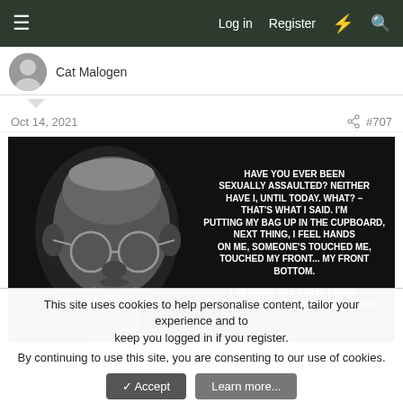Log in  Register
Cat Malogen
Oct 14, 2021  #707
[Figure (photo): Meme image with a black and white photo of an elderly man with glasses on a black background. White bold text overlay reads: HAVE YOU EVER BEEN SEXUALLY ASSAULTED? NEITHER HAVE I, UNTIL TODAY. WHAT? – THAT'S WHAT I SAID. I'M PUTTING MY BAG UP IN THE CUPBOARD, NEXT THING, I FEEL HANDS ON ME, SOMEONE'S TOUCHED ME, TOUCHED MY FRONT... MY FRONT BOTTOM. I'VE GONE ALL COLD. I LOOK ROUND, HE'S STANDING THERE, THAT]
This site uses cookies to help personalise content, tailor your experience and to keep you logged in if you register.
By continuing to use this site, you are consenting to our use of cookies.
✓ Accept   Learn more...